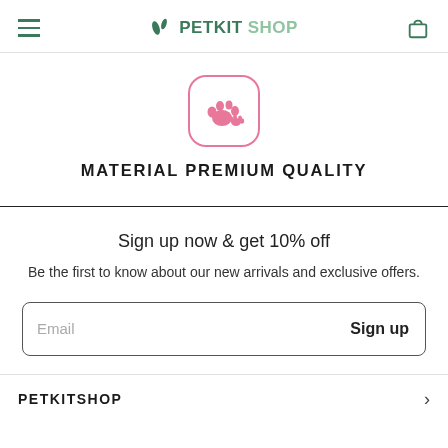PETKITSHOP
[Figure (illustration): Pink paw print icon inside a rounded square border with pink outline]
MATERIAL PREMIUM QUALITY
Sign up now & get 10% off
Be the first to know about our new arrivals and exclusive offers.
Email  Sign up
PETKITSHOP